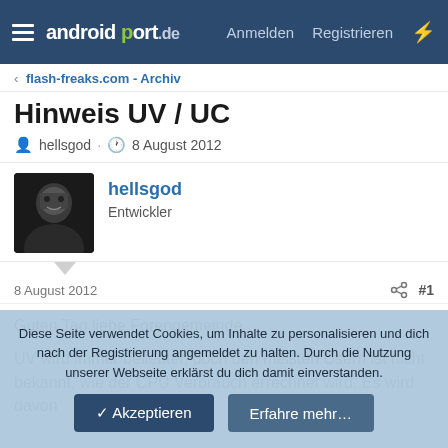androidport.de  Anmelden  Registrieren
flash-freaks.com - Archiv
Hinweis UV / UC
hellsgod · 8 August 2012
hellsgod
Entwickler
8 August 2012  #1
Guten Tag liebe Forengemeinde,

UV wird immer beliebter, doch den meisten Usern ist nicht bekannt, wie der CPU Verbrauch errechnet wird. Es wird davon
Diese Seite verwendet Cookies, um Inhalte zu personalisieren und dich nach der Registrierung angemeldet zu halten. Durch die Nutzung unserer Webseite erklärst du dich damit einverstanden.